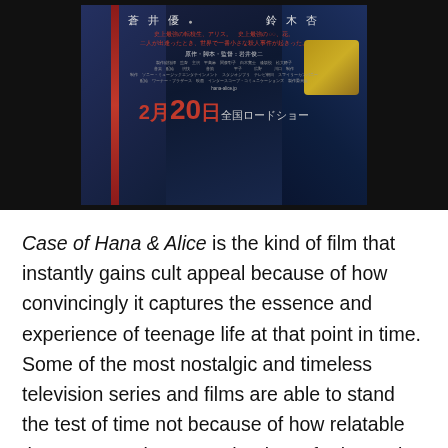[Figure (illustration): Japanese animated film poster for 'Case of Hana & Alice' (花とアリス殺人事件) showing two anime characters against a dark blue background with Japanese text including actor names 蒼井優 and 鈴木杏, red Japanese subtitle text, director credit 岩井俊二, release date 2月20日全国ロードショー, and website hana-alice.jp]
Case of Hana & Alice is the kind of film that instantly gains cult appeal because of how convincingly it captures the essence and experience of teenage life at that point in time. Some of the most nostalgic and timeless television series and films are able to stand the test of time not because of how relatable they were to viewers at the time of release, but also how convincingly they serve as a time capsule of sorts, something that is representative of that era.